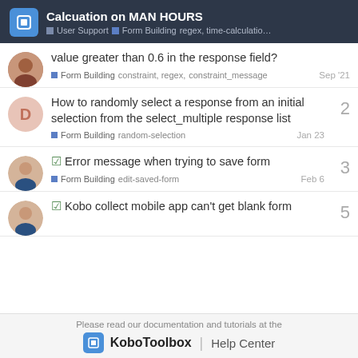Calcuation on MAN HOURS — User Support · Form Building · regex, time-calculatio…
value greater than 0.6 in the response field?
Form Building  constraint, regex, constraint_message  Sep '21
How to randomly select a response from an initial selection from the select_multiple response list
Form Building  random-selection  Jan 23  2
☑ Error message when trying to save form
Form Building  edit-saved-form  Feb 6  3
☑ Kobo collect mobile app can't get blank form
Please read our documentation and tutorials at the KoboToolbox | Help Center